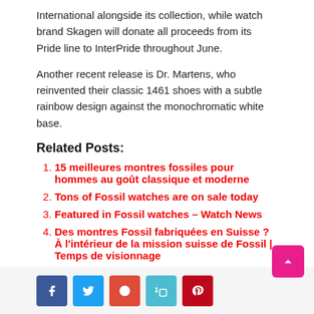International alongside its collection, while watch brand Skagen will donate all proceeds from its Pride line to InterPride throughout June.
Another recent release is Dr. Martens, who reinvented their classic 1461 shoes with a subtle rainbow design against the monochromatic white base.
Related Posts:
15 meilleures montres fossiles pour hommes au goût classique et moderne
Tons of Fossil watches are on sale today
Featured in Fossil watches – Watch News
Des montres Fossil fabriquées en Suisse ? À l'intérieur de la mission suisse de Fossil | Temps de visionnage
[Figure (other): Social share buttons: Facebook, Twitter, Google+, LinkedIn, Pinterest]
About Robert L. Thomas